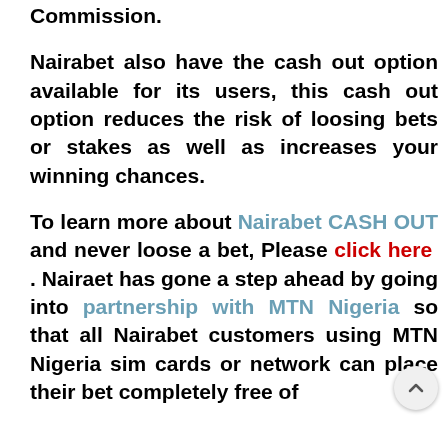Commission.
Nairabet also have the cash out option available for its users, this cash out option reduces the risk of loosing bets or stakes as well as increases your winning chances.
To learn more about Nairabet CASH OUT and never loose a bet, Please click here . Nairaet has gone a step ahead by going into partnership with MTN Nigeria so that all Nairabet customers using MTN Nigeria sim cards or network can place their bet completely free of